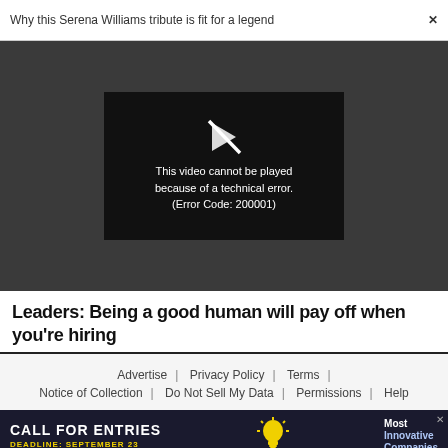Why this Serena Williams tribute is fit for a legend  ×
[Figure (screenshot): Video player showing error: 'This video cannot be played because of a technical error. (Error Code: 200001)' with a broken play button icon on dark background.]
Leaders: Being a good human will pay off when you're hiring
Advertise | Privacy Policy | Terms | Notice of Collection | Do Not Sell My Data | Permissions | Help
[Figure (infographic): Advertisement banner: CALL FOR ENTRIES - DEADLINE: SEPTEMBER 23 - Most Innovative Companies, with light bulb icon.]